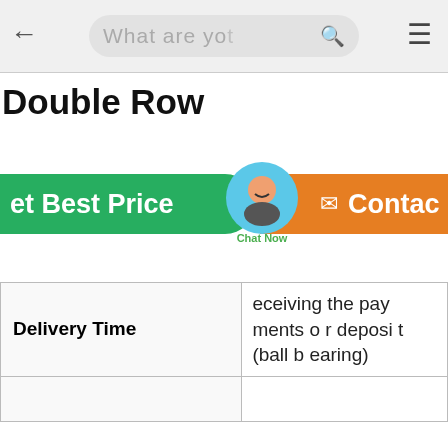What are yo (search bar)
Double Row
[Figure (screenshot): Green button labeled 'et Best Price' (partially cropped) and orange button labeled 'Contac' (partially cropped), with a circular chat widget overlay labeled 'Chat Now']
| Delivery Time | eceiving the payments or deposit (ball bearing) |
| --- | --- |
|  |  |